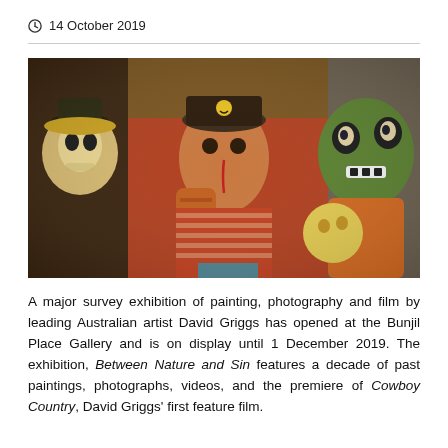14 October 2019
[Figure (photo): A colorful surreal painting featuring a central figure of a man in a cap with tattoos, surrounded by fantastical characters including a skull with a hat, a green monster mask figure, and other surreal painted characters, with vivid colors and chaotic composition.]
A major survey exhibition of painting, photography and film by leading Australian artist David Griggs has opened at the Bunjil Place Gallery and is on display until 1 December 2019. The exhibition, Between Nature and Sin features a decade of past paintings, photographs, videos, and the premiere of Cowboy Country, David Griggs' first feature film.